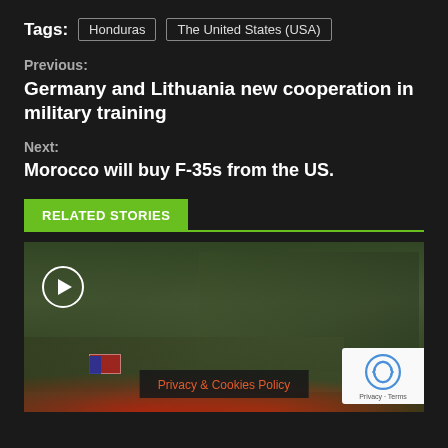Tags: Honduras | The United States (USA)
Previous:
Germany and Lithuania new cooperation in military training
Next:
Morocco will buy F-35s from the US.
RELATED STORIES
[Figure (photo): Military equipment and personnel at an exhibition or demonstration, with a play button overlay indicating this is a video thumbnail. US flag visible on equipment, red lighting on displayed weapons/artillery, group of people in military uniforms observing.]
Privacy & Cookies Policy